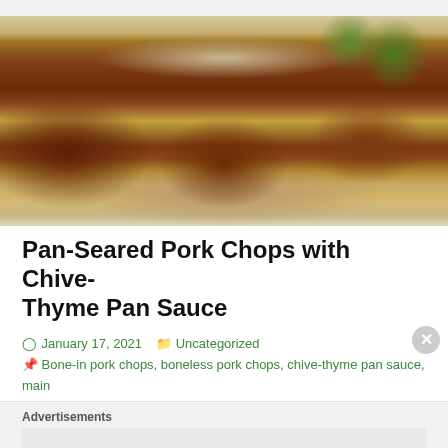[Figure (photo): Pan-seared pork chops covered in a chive-thyme pan sauce on a white plate, with fresh thyme sprigs in the background]
Pan-Seared Pork Chops with Chive-Thyme Pan Sauce
January 17, 2021   Uncategorized   Bone-in pork chops, boneless pork chops, chive-thyme pan sauce, main
Advertisements